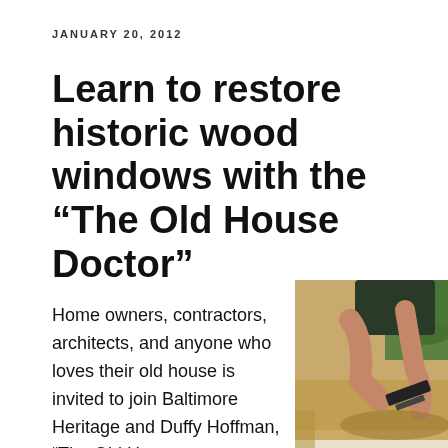JANUARY 20, 2012
Learn to restore historic wood windows with the “The Old House Doctor”
Home owners, contractors, architects, and anyone who loves their old house is invited to join Baltimore Heritage and Duffy Hoffman, “The Old H...
[Figure (photo): Person using a scraper or tool to restore a wooden window frame outdoors on a workbench]